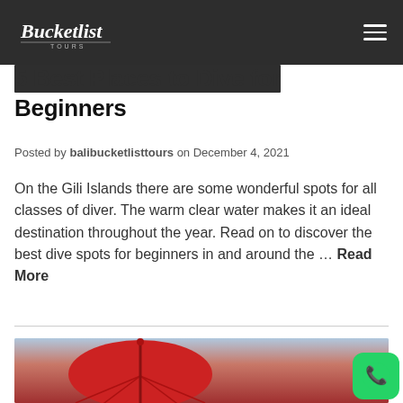Bali Bucket List Tours — navigation header with logo and hamburger menu
5 Best Places to Dive for Beginners
Posted by balibucketlisttours on December 4, 2021
On the Gili Islands there are some wonderful spots for all classes of diver. The warm clear water makes it an ideal destination throughout the year. Read on to discover the best dive spots for beginners in and around the … Read More
[Figure (photo): Photo of a red parasol umbrella against a twilight sky with pink and blue tones, partially cropped at the bottom of the page. A WhatsApp contact button (green circle with phone icon) overlays the bottom-right corner.]